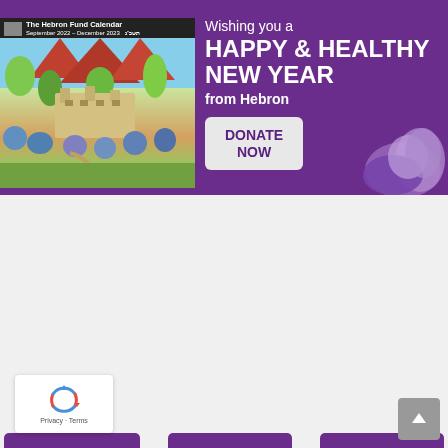[Figure (infographic): Purple banner ad for The Hebron Fund Calendar. Left side shows a colorful illustrated painting of an ancient city/landscape. Right side has white text: 'Wishing you a HAPPY & HEALTHY NEW YEAR from Hebron' and a 'DONATE NOW' button. Bottom right has a shofar illustration.]
[Figure (infographic): Navigation buttons row: NEWSLETTER, DONATE, TOURS — all purple rounded buttons on light grey background.]
*Your email is safe with us. We do not spam and we will not sell your email to other organizations.
[Figure (other): reCAPTCHA widget bottom left showing spinning arrows icon and 'Privacy - Terms' text. Grey scroll-to-top button bottom right with upward caret.]